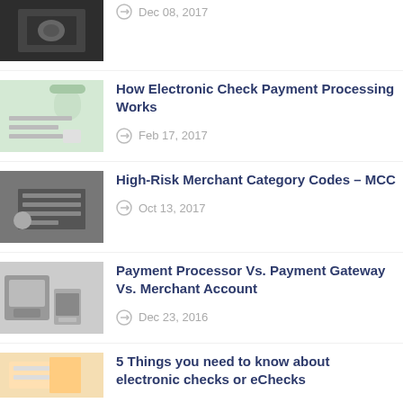[Figure (photo): Dark background photo, partially cropped at top, showing what appears to be a coffee cup on a dark wooden table]
Dec 08, 2017
How Electronic Check Payment Processing Works
[Figure (photo): Person writing at desk with plant and coffee cup, bright natural light]
Feb 17, 2017
High-Risk Merchant Category Codes – MCC
[Figure (photo): Hand using a computer mouse on a desk with keyboard]
Oct 13, 2017
Payment Processor Vs. Payment Gateway Vs. Merchant Account
[Figure (photo): Point of sale terminal and payment equipment on retail counter]
Dec 23, 2016
5 Things you need to know about electronic checks or eChecks